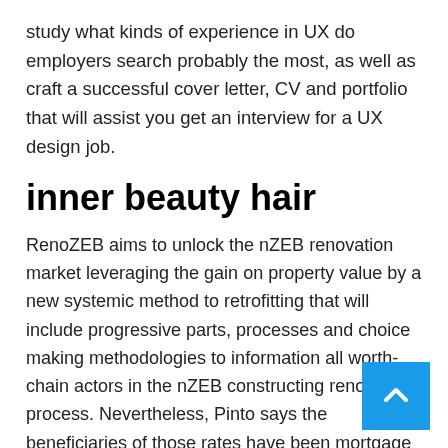study what kinds of experience in UX do employers search probably the most, as well as craft a successful cover letter, CV and portfolio that will assist you get an interview for a UX design job.
inner beauty hair
RenoZEB aims to unlock the nZEB renovation market leveraging the gain on property value by a new systemic method to retrofitting that will include progressive parts, processes and choice making methodologies to information all worth-chain actors in the nZEB constructing renovation process. Nevertheless, Pinto says the beneficiaries of those rates have been mortgage lenders (as rates fall, volume and profits enhance), actual estate brokers and home sellers.
[Figure (other): Blue back-to-top button with white upward arrow chevron in bottom-right corner]